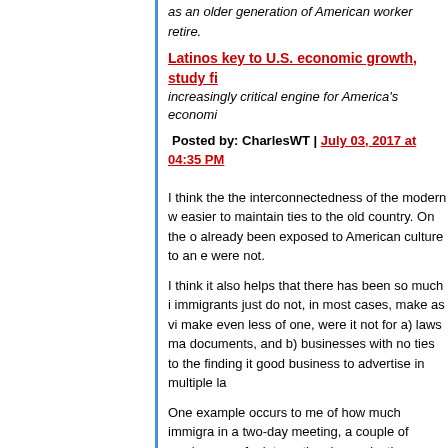as an older generation of American workers retire.
Latinos key to U.S. economic growth, study fi... increasingly critical engine for America's economi...
Posted by: CharlesWT | July 03, 2017 at 04:35 PM
I think the the interconnectedness of the modern world easier to maintain ties to the old country. On the other hand, already been exposed to American culture to an extent that were not.
I think it also helps that there has been so much immigration immigrants just do not, in most cases, make as vi... make even less of one, were it not for a) laws ma... documents, and b) businesses with no ties to the... finding it good business to advertise in multiple la...
One example occurs to me of how much immigra... in a two-day meeting, a couple of weeks ago, of a... international organization (ICANN). I was the only... room. But everybody else spoke English, in additi... mostly one or two others besides.